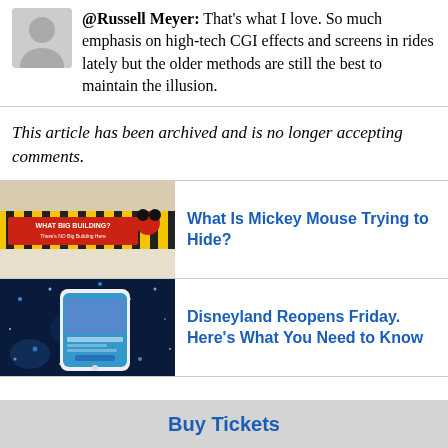@Russell Meyer: That's what I love. So much emphasis on high-tech CGI effects and screens in rides lately but the older methods are still the best to maintain the illusion.
This article has been archived and is no longer accepting comments.
[Figure (photo): Image of a Disney construction sign reading 'What Big Building? There's NO Big Building Here' with Mickey Mouse character graphics]
What Is Mickey Mouse Trying to Hide?
[Figure (photo): Smartphone displaying a Disneyland app or webpage against a blue sparkling background]
Disneyland Reopens Friday. Here's What You Need to Know
Buy Tickets